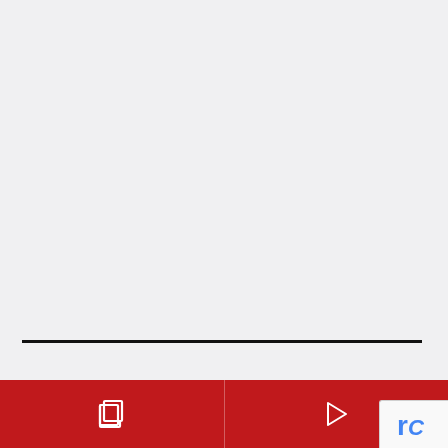LATEST NEWS FROM PNC NEWS FIRST
Man Arrested for Threatening Ex Girlfriend w...